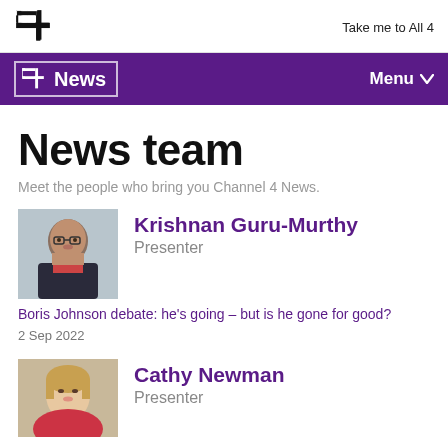Take me to All 4
News team
Meet the people who bring you Channel 4 News.
[Figure (photo): Headshot of Krishnan Guru-Murthy]
Krishnan Guru-Murthy
Presenter
Boris Johnson debate: he's going – but is he gone for good?
2 Sep 2022
[Figure (photo): Headshot of Cathy Newman]
Cathy Newman
Presenter